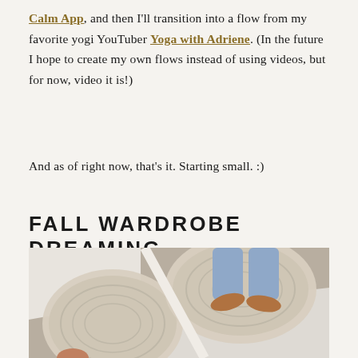Calm App, and then I'll transition into a flow from my favorite yogi YouTuber Yoga with Adriene. (In the future I hope to create my own flows instead of using videos, but for now, video it is!)
And as of right now, that's it. Starting small. :)
FALL WARDROBE DREAMING
[Figure (photo): Overhead view of a person standing on two round woven/jute rugs on a concrete floor, wearing light blue jeans and tan/cognac leather mule shoes. The scene includes white walls and appears to be a staircase or hallway area viewed from above.]